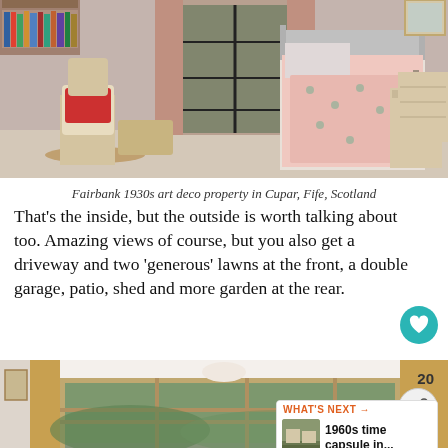[Figure (photo): Interior bedroom photo showing a metal-frame bed with pink floral bedding, pine furniture including a chest of drawers and bedside table, a rocking chair with red cushion near a bookshelf, and large windows with pink curtains.]
Fairbank 1930s art deco property in Cupar, Fife, Scotland
That's the inside, but the outside is worth talking about too. Amazing views of course, but you also get a driveway and two 'generous' lawns at the front, a double garage, patio, shed and more garden at the rear.
[Figure (photo): Interior photo of a bright room with large panoramic windows showing countryside views, gold/honey colored curtains to the sides, and white walls with coving.]